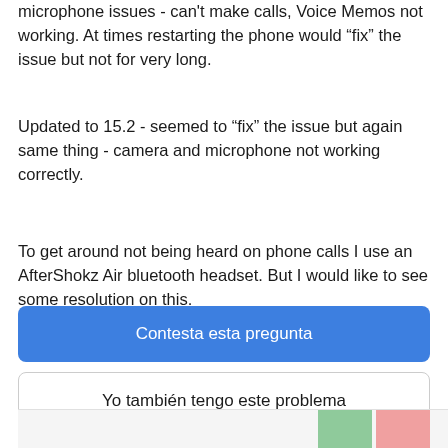microphone issues - can't make calls, Voice Memos not working. At times restarting the phone would “fix” the issue but not for very long.
Updated to 15.2 - seemed to “fix” the issue but again same thing - camera and microphone not working correctly.
To get around not being heard on phone calls I use an AfterShokz Air bluetooth headset. But I would like to see some resolution on this.
Contesta esta pregunta
Yo también tengo este problema